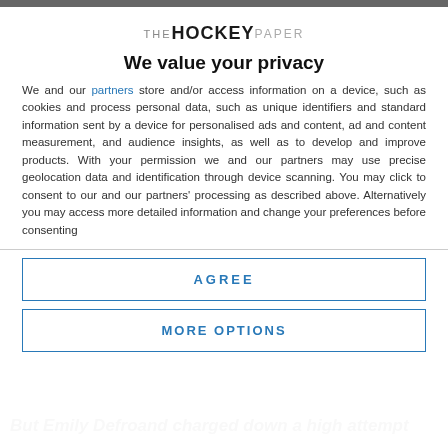[Figure (logo): The Hockey Paper logo with stylized text: THE in small grey caps, HOCKEY in bold black, PAPER in small grey caps]
We value your privacy
We and our partners store and/or access information on a device, such as cookies and process personal data, such as unique identifiers and standard information sent by a device for personalised ads and content, ad and content measurement, and audience insights, as well as to develop and improve products. With your permission we and our partners may use precise geolocation data and identification through device scanning. You may click to consent to our and our partners' processing as described above. Alternatively you may access more detailed information and change your preferences before consenting
AGREE
MORE OPTIONS
But Emily Defroand charged down a high attempt